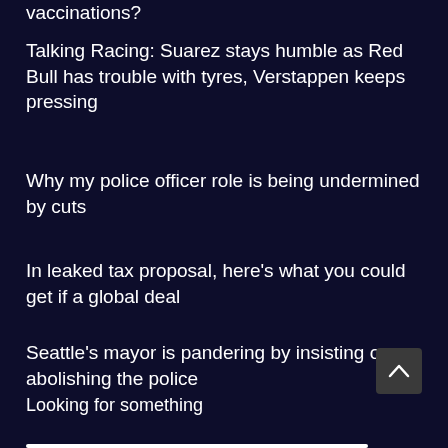vaccinations?
Talking Racing: Suarez stays humble as Red Bull has trouble with tyres, Verstappen keeps pressing
Why my police officer role is being undermined by cuts
In leaked tax proposal, here's what you could get if a global deal
Seattle's mayor is pandering by insisting on abolishing the police
Looking for something